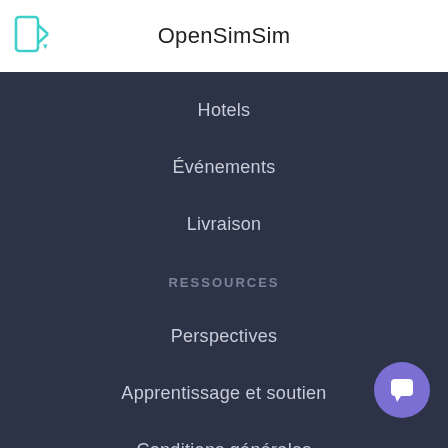OpenSimSim
Hotels
Événements
Livraison
RESSOURCES
Perspectives
Apprentissage et soutien
Conditions générales
Politique de confidentialité